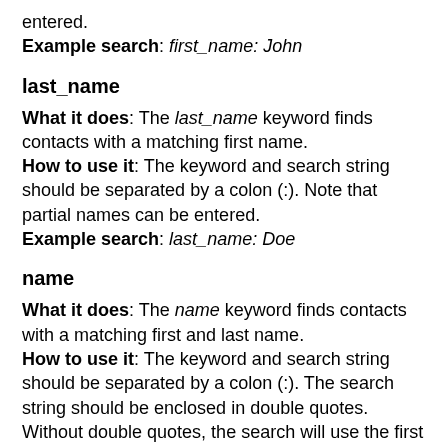entered.
Example search: first_name: John
last_name
What it does: The last_name keyword finds contacts with a matching first name.
How to use it: The keyword and search string should be separated by a colon (:). Note that partial names can be entered.
Example search: last_name: Doe
name
What it does: The name keyword finds contacts with a matching first and last name.
How to use it: The keyword and search string should be separated by a colon (:). The search string should be enclosed in double quotes. Without double quotes, the search will use the first two words after the keyword. If more than two words are typed in quotes, the search is